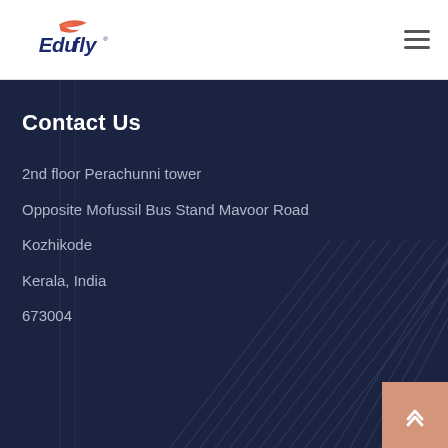[Figure (logo): Edufly logo with stylized bird/wing in orange-red and italic bold blue text]
Contact Us
2nd floor Perachunni tower
Opposite Mofussil Bus Stand Mavoor Road
Kozhikode
Kerala, India
673004